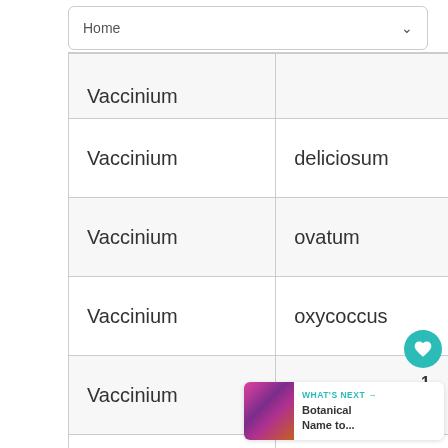[Figure (screenshot): Navigation bar with 'Home' dropdown]
| Vaccinium |  |
| Vaccinium | deliciosum |
| Vaccinium | ovatum |
| Vaccinium | oxycoccus |
| Vaccinium | macrocarpum |
| Vaccinium | caespitosum |